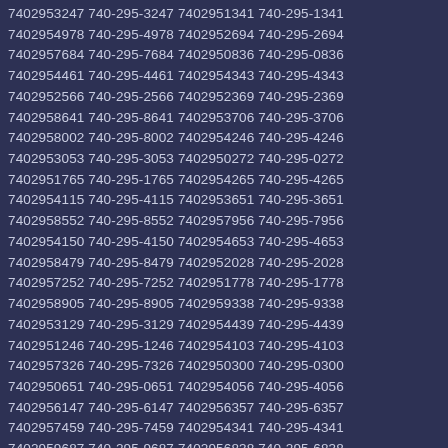7402953247 740-295-3247 7402951341 740-295-1341 7402954978 740-295-4978 7402952694 740-295-2694 7402957684 740-295-7684 7402950836 740-295-0836 7402954461 740-295-4461 7402954343 740-295-4343 7402952566 740-295-2566 7402952369 740-295-2369 7402958641 740-295-8641 7402953706 740-295-3706 7402958002 740-295-8002 7402954246 740-295-4246 7402953053 740-295-3053 7402950272 740-295-0272 7402951765 740-295-1765 7402954265 740-295-4265 7402954115 740-295-4115 7402953651 740-295-3651 7402958552 740-295-8552 7402957956 740-295-7956 7402954150 740-295-4150 7402954653 740-295-4653 7402958479 740-295-8479 7402952028 740-295-2028 7402957252 740-295-7252 7402951778 740-295-1778 7402958905 740-295-8905 7402959338 740-295-9338 7402953129 740-295-3129 7402954439 740-295-4439 7402951246 740-295-1246 7402954103 740-295-4103 7402957326 740-295-7326 7402950300 740-295-0300 7402950651 740-295-0651 7402954056 740-295-4056 7402956147 740-295-6147 7402956357 740-295-6357 7402957459 740-295-7459 7402954341 740-295-4341 7402959687 740-295-9687 7402956838 740-295-6838 7402959322 740-295-9322 7402954453 740-295-4453 7402956731 740-295-6731 7402954334 740-295-4334 7402950391 740-295-0391 7402955802 740-295-5802 7402959736 740-295-9736 7402954187 740-295-4187 7402957994 740-295-7994 7402953626 740-295-3626 7402954229 740-295-4229 7402959947 740-295-9947 7402958671 740-295-8671 7402952599 740-295-2599